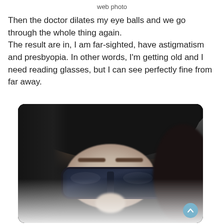web photo
Then the doctor dilates my eye balls and we go through the whole thing again.
The result are in, I am far-sighted, have astigmatism and presbyopia. In other words, I'm getting old and I need reading glasses, but I can see perfectly fine from far away.
[Figure (photo): Close-up selfie photo of a woman with dark hair wearing large dark wraparound goggles/sunglasses, taken from a car interior. The image is slightly blurry. Bottom of the photo fades to white.]